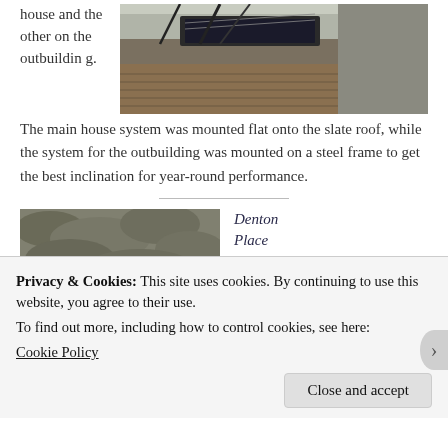house and the other on the outbuilding.
[Figure (photo): Photograph of solar panels mounted on a slate roof with steel frame and railing visible]
The main house system was mounted flat onto the slate roof, while the system for the outbuilding was mounted on a steel frame to get the best inclination for year-round performance.
[Figure (photo): Photograph of a garden or landscape with dense low vegetation]
Denton Place
Privacy & Cookies: This site uses cookies. By continuing to use this website, you agree to their use.
To find out more, including how to control cookies, see here:
Cookie Policy
Close and accept